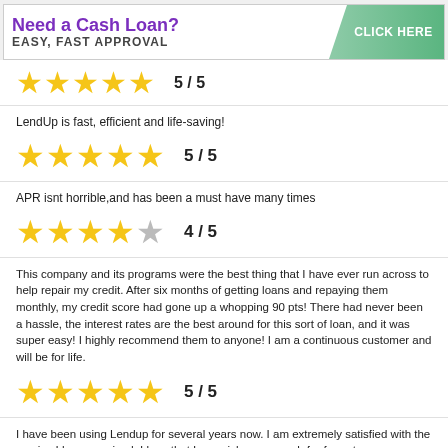[Figure (infographic): Advertisement banner: 'Need a Cash Loan? EASY, FAST APPROVAL' with a green 'CLICK HERE' button]
LendUp is fast, efficient and life-saving!
[Figure (other): 5 yellow stars rating: 5 / 5]
APR isnt horrible,and has been a must have many times
[Figure (other): 4 yellow stars and 1 gray star rating: 4 / 5]
This company and its programs were the best thing that I have ever run across to help repair my credit. After six months of getting loans and repaying them monthly, my credit score had gone up a whopping 90 pts! There had never been a hassle, the interest rates are the best around for this sort of loan, and it was super easy! I highly recommend them to anyone! I am a continuous customer and will be for life.
[Figure (other): 5 yellow stars rating: 5 / 5]
I have been using Lendup for several years now. I am extremely satisfied with the service I have received. I love that I can pick up my cash for free at